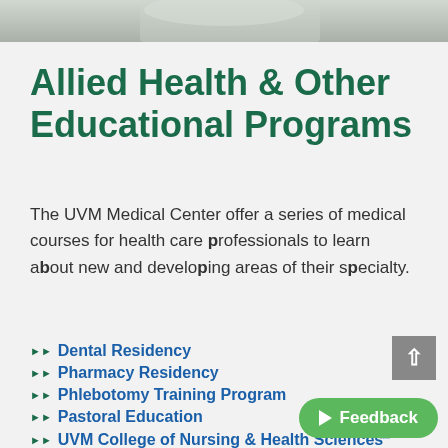[Figure (photo): Top strip showing medical professionals in white coats, partially cropped.]
Allied Health & Other Educational Programs
The UVM Medical Center offer a series of medical courses for health care professionals to learn about new and developing areas of their specialty.
Dental Residency
Pharmacy Residency
Phlebotomy Training Program
Pastoral Education
UVM College of Nursing & Health Sciences